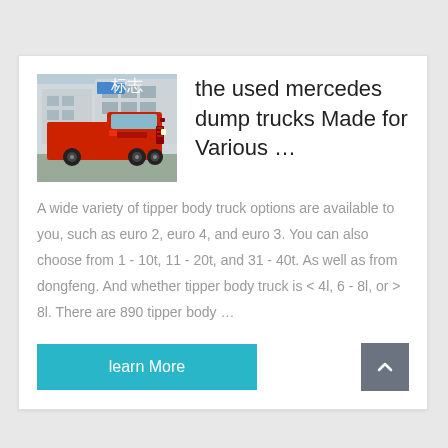[Figure (photo): Red heavy-duty truck (tractor unit) parked in front of a building, front-side angle view]
the used mercedes dump trucks Made for Various …
A wide variety of tipper body truck options are available to you, such as euro 2, euro 4, and euro 3. You can also choose from 1 - 10t, 11 - 20t, and 31 - 40t. As well as from dongfeng. And whether tipper body truck is < 4l, 6 - 8l, or > 8l. There are 890 tipper body …